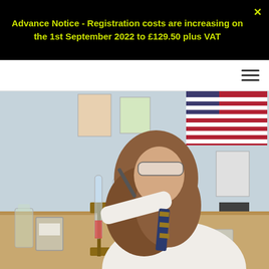Advance Notice - Registration costs are increasing on the 1st September 2022 to £129.50 plus VAT
[Figure (photo): A student in school uniform with long curly hair, wearing safety goggles, leaning over a rack of test tubes in a science classroom. Posters and an American flag are visible on the wall in the background.]